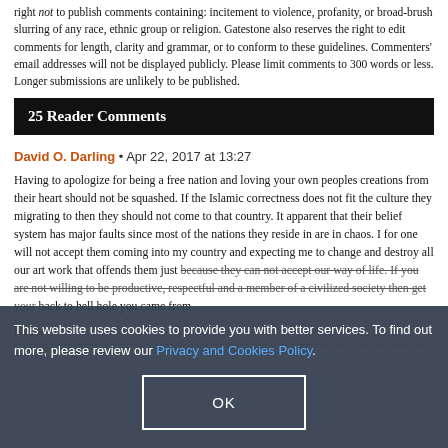right not to publish comments containing: incitement to violence, profanity, or broad-brush slurring of any race, ethnic group or religion. Gatestone also reserves the right to edit comments for length, clarity and grammar, or to conform to these guidelines. Commenters' email addresses will not be displayed publicly. Please limit comments to 300 words or less. Longer submissions are unlikely to be published.
25 Reader Comments
David O. Darling • Apr 22, 2017 at 13:27
Having to apologize for being a free nation and loving your own peoples creations from their heart should not be squashed. If the Islamic correctness does not fit the culture they migrating to then they should not come to that country. It apparent that their belief system has major faults since most of the nations they reside in are in chaos. I for one will not accept them coming into my country and expecting me to change and destroy all our art work that offends them just because they can not accept our way of life. If you are not willing to be productive, respectful and a member of a civilized society then get your back to hell hole you came from.
Reply->
This website uses cookies to provide you with better services. To find out more, please review our Privacy and Cookies Policy.